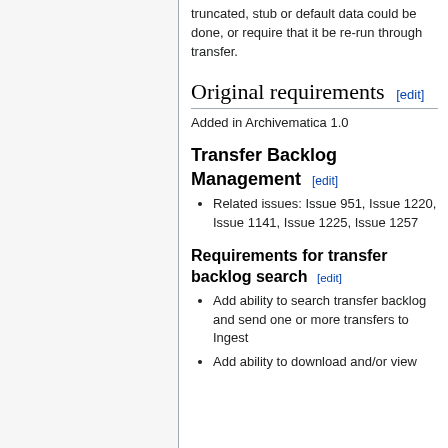truncated, stub or default data could be done, or require that it be re-run through transfer.
Original requirements [edit]
Added in Archivematica 1.0
Transfer Backlog Management [edit]
Related issues: Issue 951, Issue 1220, Issue 1141, Issue 1225, Issue 1257
Requirements for transfer backlog search [edit]
Add ability to search transfer backlog and send one or more transfers to Ingest
Add ability to download and/or view